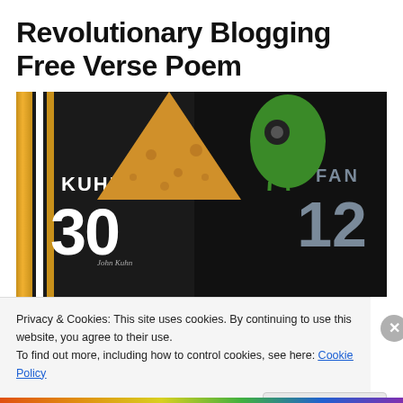Revolutionary Blogging Free Verse Poem
[Figure (photo): Two NFL jerseys laid out on a carpeted floor. Left jersey is a Green Bay Packers number 30 KUHN jersey with a cheese wedge hat on top. Right jersey is a Seattle Seahawks FAN number 12 jersey with a green monster hat on top.]
Privacy & Cookies: This site uses cookies. By continuing to use this website, you agree to their use.
To find out more, including how to control cookies, see here: Cookie Policy
Close and accept